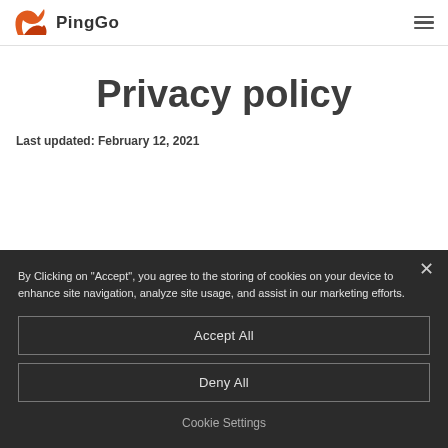PingGo [logo + hamburger menu]
Privacy policy
Last updated: February 12, 2021
By Clicking on "Accept", you agree to the storing of cookies on your device to enhance site navigation, analyze site usage, and assist in our marketing efforts.
Accept All
Deny All
Cookie Settings